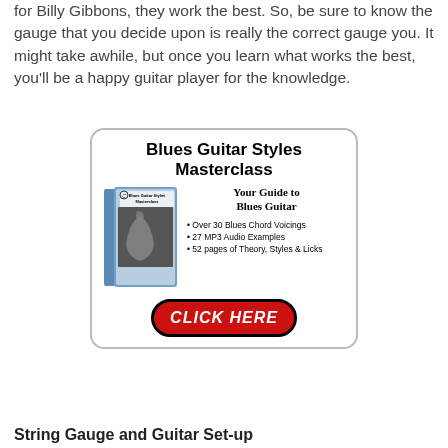for Billy Gibbons, they work the best. So, be sure to know the gauge that you decide upon is really the correct gauge you. It might take awhile, but once you learn what works the best, you'll be a happy guitar player for the knowledge.
[Figure (illustration): Advertisement for Blues Guitar Styles Masterclass showing a book cover with guitar image, title text, bullet points listing features (Over 30 Blues Chord Voicings, 27 MP3 Audio Examples, 52 pages of Theory, Styles & Licks), and a red CLICK HERE button.]
String Gauge and Guitar Set-up